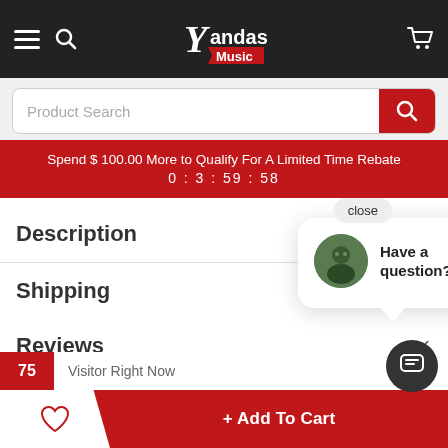Yandas Music — navigation header with hamburger menu, search icon, logo, and cart icon
Product Search
Spend $ 100.00 More to Qualify For A Limited Time Rebate
0 : 3 : 59 : 58
Description
Shipping
Reviews
[Figure (screenshot): Chat popup with avatar and 'Have a question?' text, close button, visitor count badge showing 75, and chat FAB button]
close
Have a question?
75 Visitor Right Now
+ Add To Cart